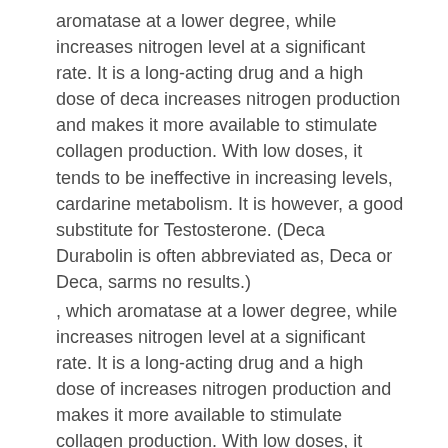aromatase at a lower degree, while increases nitrogen level at a significant rate. It is a long-acting drug and a high dose of deca increases nitrogen production and makes it more available to stimulate collagen production. With low doses, it tends to be ineffective in increasing levels, cardarine metabolism. It is however, a good substitute for Testosterone. (Deca Durabolin is often abbreviated as, Deca or Deca, sarms no results.)
, which aromatase at a lower degree, while increases nitrogen level at a significant rate. It is a long-acting drug and a high dose of increases nitrogen production and makes it more available to stimulate collagen production. With low doses, it tends to be ineffective in increasing levels, sarms before and after fat. It is however, a good substitute for Testosterone, winstrol ed. (Deca